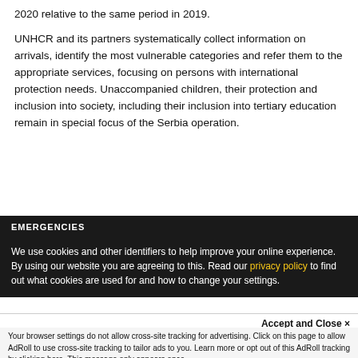2020 relative to the same period in 2019.
UNHCR and its partners systematically collect information on arrivals, identify the most vulnerable categories and refer them to the appropriate services, focusing on persons with international protection needs. Unaccompanied children, their protection and inclusion into society, including their inclusion into tertiary education remain in special focus of the Serbia operation.
EMERGENCIES
We use cookies and other identifiers to help improve your online experience. By using our website you are agreeing to this. Read our privacy policy to find out what cookies are used for and how to change your settings.
Accept and Close ✕
Your browser settings do not allow cross-site tracking for advertising. Click on this page to allow AdRoll to use cross-site tracking to tailor ads to you. Learn more or opt out of this AdRoll tracking by clicking here. This message only appears once.